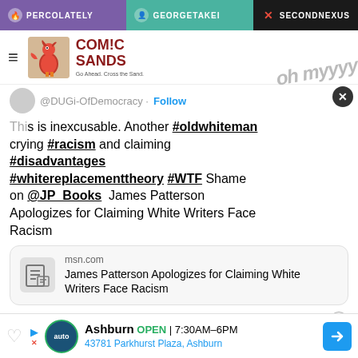PERCOLATELY  GEORGETAKEI  SECONDNEXUS
[Figure (logo): Comic Sands logo with rooster illustration]
@DUGi-OfDemocracy · Follow
This is inexcusable. Another #oldwhiteman crying #racism and claiming #disadvantages #whitereplacementtheory #WTF Shame on @JP_Books  James Patterson Apologizes for Claiming White Writers Face Racism
[Figure (screenshot): MSN.com link card: James Patterson Apologizes for Claiming White Writers Face Racism]
4:05 PM · Jun 15, 2022
[Figure (infographic): Ad bar: Ashburn OPEN 7:30AM-6PM, 43781 Parkhurst Plaza, Ashburn]